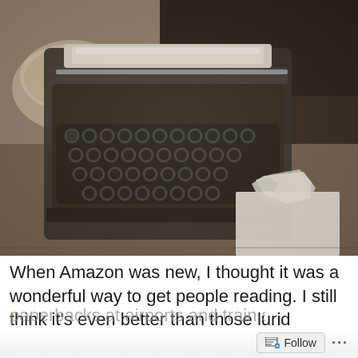[Figure (photo): Black and white / sepia photograph of a vintage typewriter on a desk, with crumpled white paper in the foreground on a flat surface]
When Amazon was new, I thought it was a wonderful way to get people reading. I still think it's even better than those lurid
[faded/partially visible continuation of quote]
Follow ...